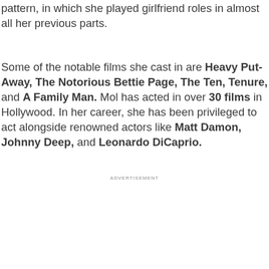pattern, in which she played girlfriend roles in almost all her previous parts.
Some of the notable films she cast in are Heavy Put-Away, The Notorious Bettie Page, The Ten, Tenure, and A Family Man. Mol has acted in over 30 films in Hollywood. In her career, she has been privileged to act alongside renowned actors like Matt Damon, Johnny Deep, and Leonardo DiCaprio.
ADVERTISEMENT